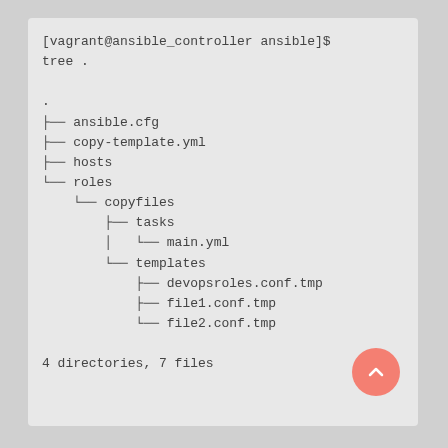[Figure (screenshot): Terminal output showing a directory tree structure for an Ansible project. Prompt shows [vagrant@ansible_controller ansible]$ tree . with the following tree: ansible.cfg, copy-template.yml, hosts, roles/copyfiles/tasks/main.yml, roles/copyfiles/templates/devopsroles.conf.tmp, file1.conf.tmp, file2.conf.tmp. Summary: 4 directories, 7 files.]